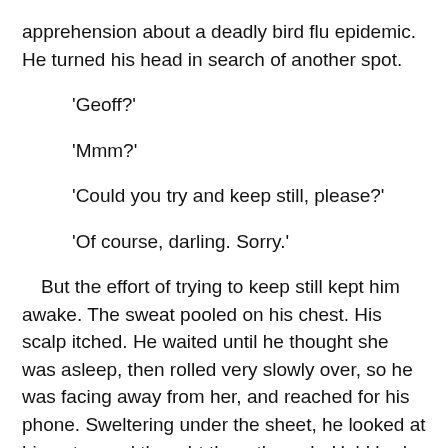apprehension about a deadly bird flu epidemic. He turned his head in search of another spot.
'Geoff?'
'Mmm?'
'Could you try and keep still, please?'
'Of course, darling. Sorry.'
But the effort of trying to keep still kept him awake. The sweat pooled on his chest. His scalp itched. He waited until he thought she was asleep, then rolled very slowly over, so he was facing away from her, and reached for his phone. Sweltering under the sheet, he looked at his notes and thought them through. He'd had plenty of wonderful ideas before in the small hours of the night. Sometimes